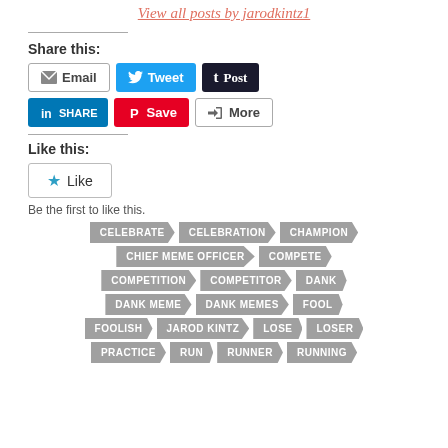View all posts by jarodkintz1
Share this:
[Figure (screenshot): Social sharing buttons: Email, Tweet, Post, LinkedIn Share, Pinterest Save, More]
Like this:
[Figure (screenshot): Like button widget with star icon]
Be the first to like this.
CELEBRATE
CELEBRATION
CHAMPION
CHIEF MEME OFFICER
COMPETE
COMPETITION
COMPETITOR
DANK
DANK MEME
DANK MEMES
FOOL
FOOLISH
JAROD KINTZ
LOSE
LOSER
PRACTICE
RUN
RUNNER
RUNNING